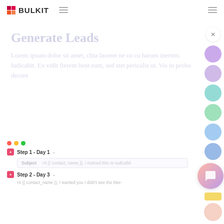[Figure (logo): Bulkit logo — 2x2 colored grid squares (red/orange) beside bold text BULKIT]
Generate Leads
Lorem ipsum dolor sit amet, clita laoreet ne cu cu harum inermis Iudicabit. Ex vidit fierent hent eum, sed stet periculis ut. Vis in probo decore
Step 1 - Day 1
Subject   Hi {{ contact_name }}, I noticed this re-Iudicabit
Step 2 - Day 3
Hi {{ contact_name }}, I wanted you I didn't see the ther-